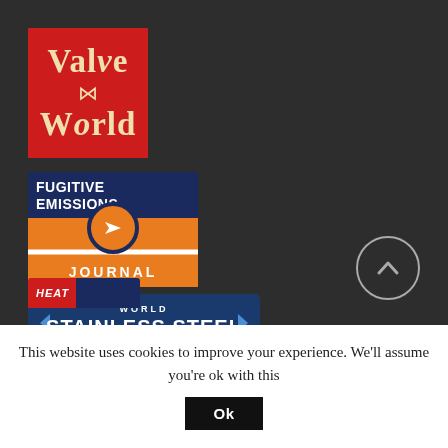[Figure (logo): Valve World magazine logo — red background with cream/gold serif text reading 'Valve World' with a bow tie motif in the middle]
[Figure (logo): Fugitive Emissions Journal logo — dark navy top with white bold text 'FUGITIVE EMISSIONS', orange bottom section with white text 'JOURNAL' and an orange circle with white arrow]
[Figure (logo): Stainless Steel World logo — dark blue rounded rectangle with white bold text 'STAINLESS STEEL' and smaller text 'WORLD' above, with arrow chevrons on sides]
[Figure (logo): Partially visible heat-related publication logo at bottom, red and blue colors, partially cut off]
[Figure (other): Scroll-to-top circular button with upward arrow, grey circle outline]
This website uses cookies to improve your experience. We'll assume you're ok with this
Ok